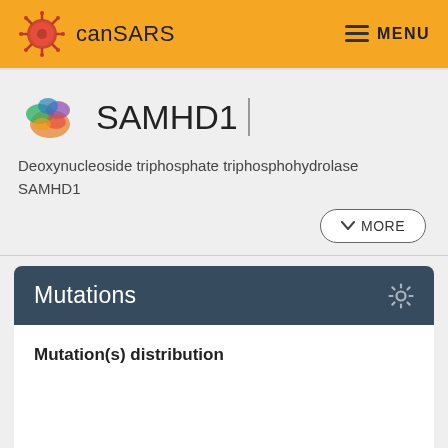canSARS   MENU
SAMHD1
Deoxynucleoside triphosphate triphosphohydrolase SAMHD1
Mutations
Mutation(s) distribution